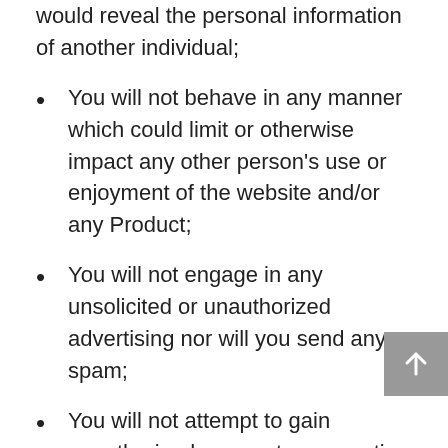otherwise make available any material which would reveal the personal information of another individual;
You will not behave in any manner which could limit or otherwise impact any other person's use or enjoyment of the website and/or any Product;
You will not engage in any unsolicited or unauthorized advertising nor will you send any spam;
You will not attempt to gain unauthorized access to any portion of the website or any of the Products;
You will not engage in or encourage others to